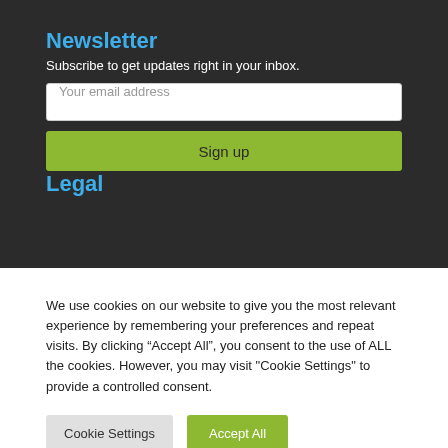Newsletter
Subscribe to get updates right in your inbox.
Your email address
Sign up
Legal
We use cookies on our website to give you the most relevant experience by remembering your preferences and repeat visits. By clicking “Accept All”, you consent to the use of ALL the cookies. However, you may visit "Cookie Settings" to provide a controlled consent.
Cookie Settings
Accept All